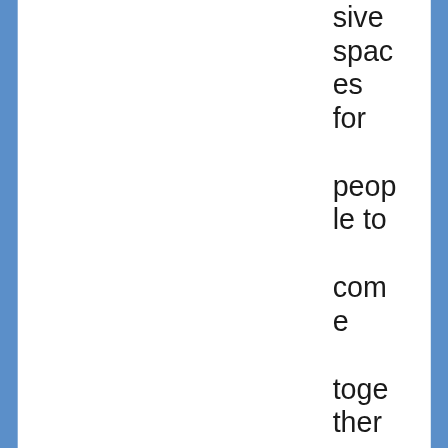sive spaces for people to come together to learn about and study birds. I